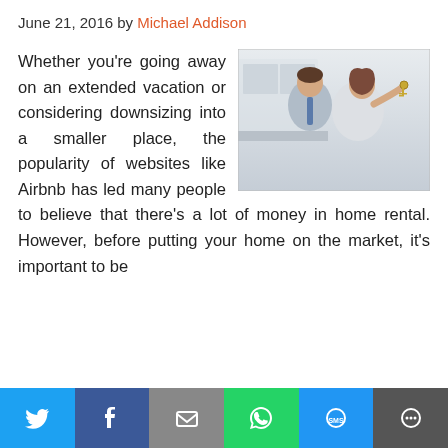June 21, 2016 by Michael Addison
[Figure (photo): A man in a suit and a woman in a white top holding house keys, standing in a bright modern interior]
Whether you're going away on an extended vacation or considering downsizing into a smaller place, the popularity of websites like Airbnb has led many people to believe that there's a lot of money in home rental. However, before putting your home on the market, it's important to be
Twitter | Facebook | Email | WhatsApp | SMS | More